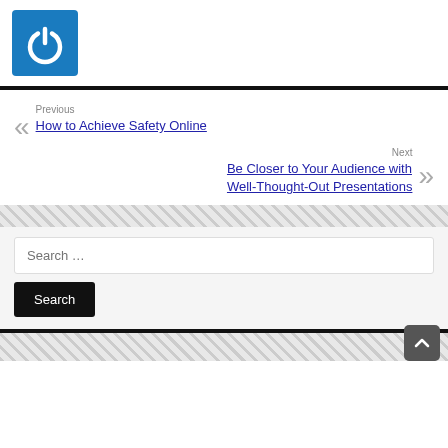[Figure (logo): Blue square logo with white power button icon]
Previous
How to Achieve Safety Online
Next
Be Closer to Your Audience with Well-Thought-Out Presentations
Search …
Search